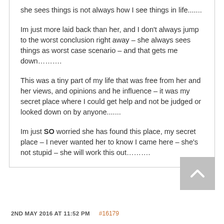she sees things is not always how I see things in life.......
Im just more laid back than her, and I don’t always jump to the worst conclusion right away – she always sees things as worst case scenario – and that gets me down.........
This was a tiny part of my life that was free from her and her views, and opinions and he influence – it was my secret place where I could get help and not be judged or looked down on by anyone.......
Im just SO worried she has found this place, my secret place – I never wanted her to know I came here – she’s not stupid – she will work this out.........
2ND MAY 2016 AT 11:52 PM   #16179